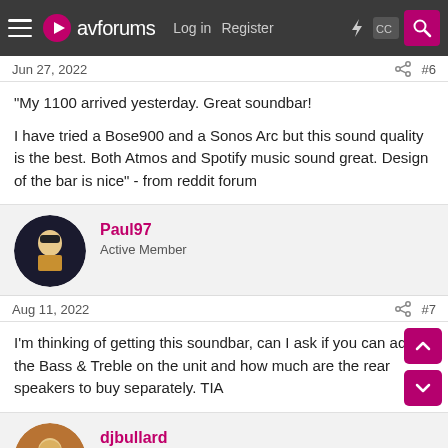avforums — Log in | Register
Jun 27, 2022 — #6
"My 1100 arrived yesterday. Great soundbar!

I have tried a Bose900 and a Sonos Arc but this sound quality is the best. Both Atmos and Spotify music sound great. Design of the bar is nice" - from reddit forum
Paul97 — Active Member
Aug 11, 2022 — #7
I'm thinking of getting this soundbar, can I ask if you can adjust the Bass & Treble on the unit and how much are the rear speakers to buy separately. TIA
djbullard — Well-known Member